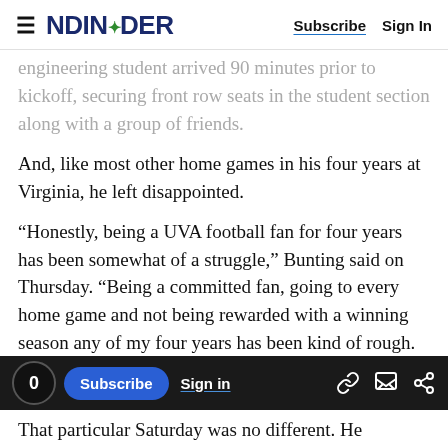NDINSiDER   Subscribe   Sign In
engineering student arrived 90 minutes prior to kickoff, securing front row seats in the student section along with a group of friends.
And, like most other home games in his four years at Virginia, he left disappointed.
“Honestly, being a UVA football fan for four years has been somewhat of a struggle,” Bunting said on Thursday. “Being a committed fan, going to every home game and not being rewarded with a winning season any of my four years has been kind of rough. But with that said, I still go to all
That particular Saturday was no different. He